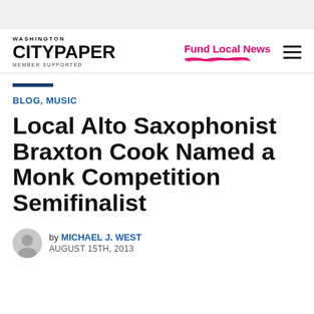Washington City Paper — MEMBER SUPPORTED | Fund Local News
BLOG, MUSIC
Local Alto Saxophonist Braxton Cook Named a Monk Competition Semifinalist
by MICHAEL J. WEST — AUGUST 15TH, 2013